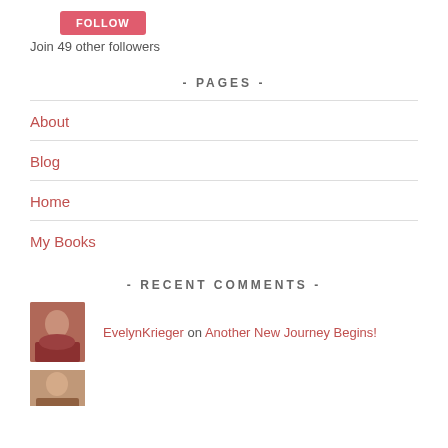FOLLOW
Join 49 other followers
- PAGES -
About
Blog
Home
My Books
- RECENT COMMENTS -
EvelynKrieger on Another New Journey Begins!
[Figure (photo): Avatar photo of a person, partial view at bottom]